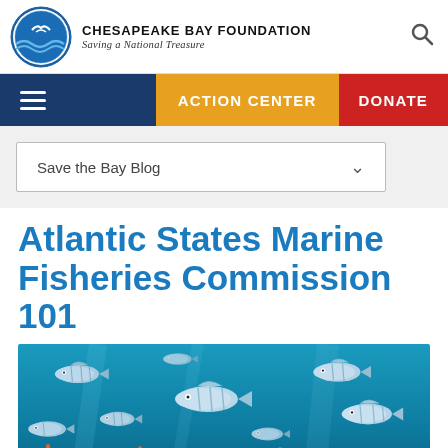CHESAPEAKE BAY FOUNDATION — Saving a National Treasure
ACTION CENTER | DONATE
Save the Bay Blog
Atlantic States Marine Fisheries Commission 101
[Figure (photo): Underwater photo of a school of striped grey fish swimming over a coral reef]